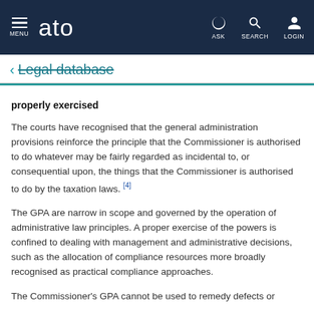ato — MENU | ASK | SEARCH | LOGIN
Legal database
properly exercised
The courts have recognised that the general administration provisions reinforce the principle that the Commissioner is authorised to do whatever may be fairly regarded as incidental to, or consequential upon, the things that the Commissioner is authorised to do by the taxation laws. [4]
The GPA are narrow in scope and governed by the operation of administrative law principles. A proper exercise of the powers is confined to dealing with management and administrative decisions, such as the allocation of compliance resources more broadly recognised as practical compliance approaches.
The Commissioner's GPA cannot be used to remedy defects or